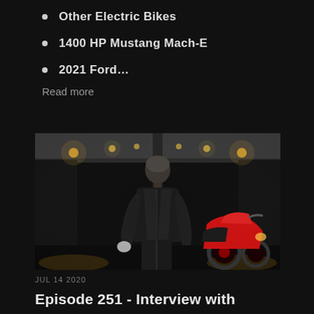Other Electric Bikes
1400 HP Mustang Mach-E
2021 Ford…
Read more
[Figure (photo): Man in black leather jacket standing in a lit tunnel next to a red motorcycle, looking to his right. The tunnel has overhead lights creating a perspective effect.]
JUL 14 2020
Episode 251 - Interview with